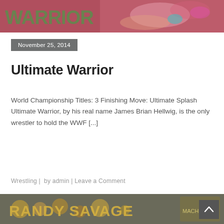[Figure (photo): Top banner image showing Ultimate Warrior wrestling imagery with green graffiti-style text 'WARRIOR' and colorful action photo]
November 25, 2014
Ultimate Warrior
World Championship Titles: 3 Finishing Move: Ultimate Splash Ultimate Warrior, by his real name James Brian Hellwig, is the only wrestler to hold the WWF [...]
Wrestling |  by admin | Leave a Comment
[Figure (photo): Bottom banner image showing Randy Savage wrestling imagery with gold and grey decorative styling and text 'RANDY SAVAGE']